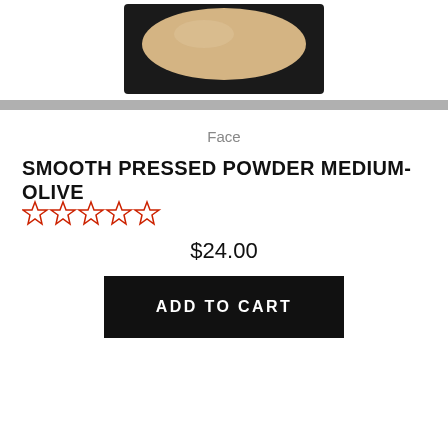[Figure (photo): Top portion of a black compact powder case with a round beige/olive pressed powder visible inside, on a white background.]
Face
SMOOTH PRESSED POWDER MEDIUM-OLIVE
[Figure (other): Five empty star rating icons in red/orange outline, indicating no rating selected.]
$24.00
ADD TO CART